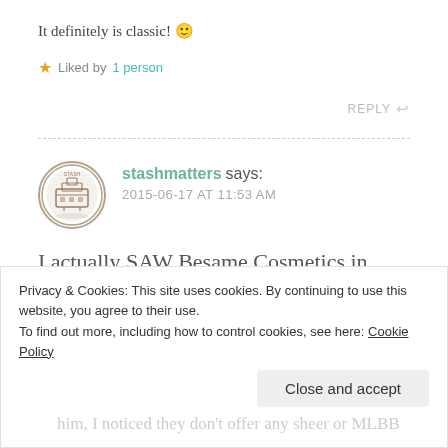It definitely is classic! 🙂
★ Liked by 1 person
REPLY ↩
stashmatters says:
2015-06-17 AT 11:53 AM
I actually SAW Besame Cosmetics in Sephora inside Eaton Centre – crazy! They only had the powders and
Privacy & Cookies: This site uses cookies. By continuing to use this website, you agree to their use.
To find out more, including how to control cookies, see here: Cookie Policy
Close and accept
him, I noticed they don't offer any sheer or MLBB